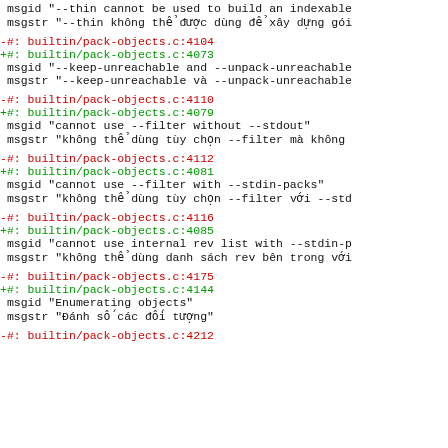-#: builtin/pack-objects.c:4104
+#: builtin/pack-objects.c:4073
 msgid "--keep-unreachable and --unpack-unreachable
 msgstr "--keep-unreachable và --unpack-unreachable
-#: builtin/pack-objects.c:4110
+#: builtin/pack-objects.c:4079
 msgid "cannot use --filter without --stdout"
 msgstr "không thể dùng tùy chọn --filter mà không
-#: builtin/pack-objects.c:4112
+#: builtin/pack-objects.c:4081
 msgid "cannot use --filter with --stdin-packs"
 msgstr "không thể dùng tùy chọn --filter với --std
-#: builtin/pack-objects.c:4116
+#: builtin/pack-objects.c:4085
 msgid "cannot use internal rev list with --stdin-p
 msgstr "không thể dùng danh sách rev bên trong với
-#: builtin/pack-objects.c:4175
+#: builtin/pack-objects.c:4144
 msgid "Enumerating objects"
 msgstr "Đánh số các đối tượng"
-#: builtin/pack-objects.c:4212